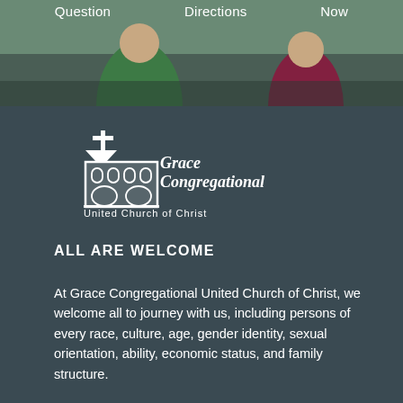[Figure (photo): Top portion showing navigation links (Question, Directions, Now) over a photo of two people outdoors, one in green and one in dark red/maroon clothing]
[Figure (logo): Grace Congregational United Church of Christ logo: white church building illustration with cross on top, and italic script text 'Grace Congregational' with 'United Church of Christ' below]
ALL ARE WELCOME
At Grace Congregational United Church of Christ, we welcome all to journey with us, including persons of every race, culture, age, gender identity, sexual orientation, ability, economic status, and family structure.